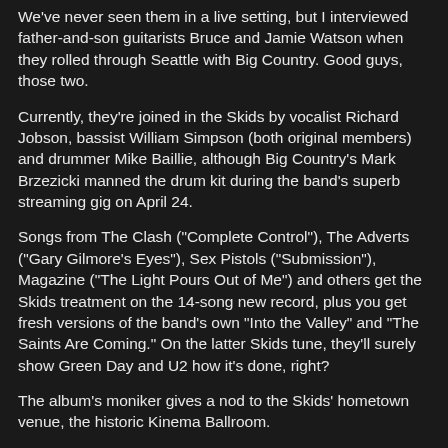We've never seen them in a live setting, but I interviewed father-and-son guitarists Bruce and Jamie Watson when they rolled through Seattle with Big Country. Good guys, those two.
Currently, they're joined in the Skids by vocalist Richard Jobson, bassist William Simpson (both original members) and drummer Mike Baillie, although Big Country's Mark Brzezicki manned the drum kit during the band's superb streaming gig on April 24.
Songs from The Clash ("Complete Control"), The Adverts ("Gary Gilmore's Eyes"), Sex Pistols ("Submission"), Magazine ("The Light Pours Out of Me") and others get the Skids treatment on the 14-song new record, plus you get fresh versions of the band's own "Into the Valley" and "The Saints Are Coming." On the latter Skids tune, they'll surely show Green Day and U2 how it's done, right?
The album's moniker gives a nod to the Skids' hometown venue, the historic Kinema Ballroom.
Jobson noted in a press release: “John Foxx of Ultravox was